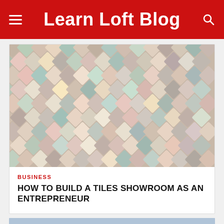Learn Loft Blog
[Figure (photo): Close-up photo of a wall or surface covered with diamond-shaped tiles in various pastel and earthy colors including beige, pink, green, blue, yellow, and brown arranged in a repeating diamond pattern.]
BUSINESS
HOW TO BUILD A TILES SHOWROOM AS AN ENTREPRENEUR